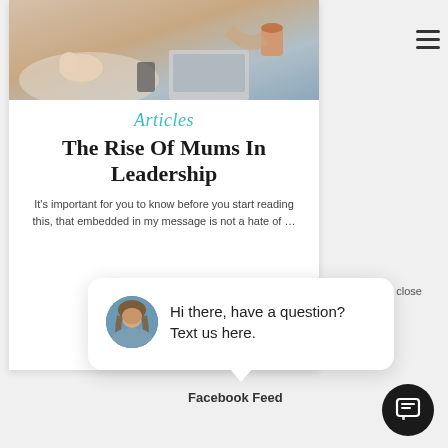[Figure (photo): Hero image showing a sleeping baby on a couch next to a woman working on a laptop with a cup of tea]
Articles
The Rise Of Mums In Leadership
It's important for you to know before you start reading this, that embedded in my message is not a hate of …
close
Hi there, have a question? Text us here.
Facebook Feed